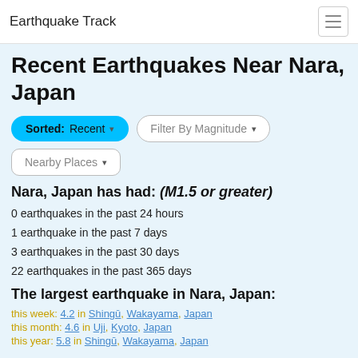Earthquake Track
Recent Earthquakes Near Nara, Japan
Sorted: Recent ▾   Filter By Magnitude ▾   Nearby Places ▾
Nara, Japan has had: (M1.5 or greater)
0 earthquakes in the past 24 hours
1 earthquake in the past 7 days
3 earthquakes in the past 30 days
22 earthquakes in the past 365 days
The largest earthquake in Nara, Japan:
this week: 4.2 in Shingū, Wakayama, Japan
this month: 4.6 in Uji, Kyoto, Japan
this year: 5.8 in Shingū, Wakayama, Japan